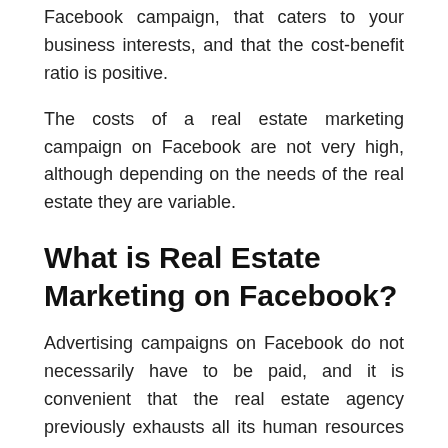Facebook campaign, that caters to your business interests, and that the cost-benefit ratio is positive.
The costs of a real estate marketing campaign on Facebook are not very high, although depending on the needs of the real estate they are variable.
What is Real Estate Marketing on Facebook?
Advertising campaigns on Facebook do not necessarily have to be paid, and it is convenient that the real estate agency previously exhausts all its human resources in exploiting the potential of said platform.
The potential for real estate offered by Facebook marketing for free is very high, and the figure of the Real Estate Community Manager is decisive in this regard. The